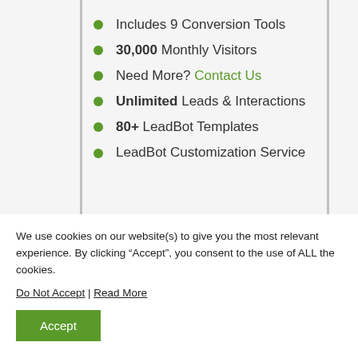Includes 9 Conversion Tools
30,000 Monthly Visitors
Need More? Contact Us
Unlimited Leads & Interactions
80+ LeadBot Templates
LeadBot Customization Service
We use cookies on our website(s) to give you the most relevant experience. By clicking “Accept”, you consent to the use of ALL the cookies.
Do Not Accept | Read More
Accept